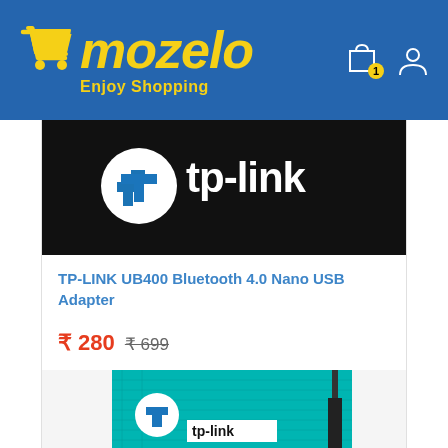[Figure (logo): Mozelo e-commerce website header with shopping cart logo, brand name 'mozelo', tagline 'Enjoy Shopping', shopping bag icon with badge '1', and user/account icon]
[Figure (photo): TP-Link product image showing black box with TP-Link logo and branding]
TP-LINK UB400 Bluetooth 4.0 Nano USB Adapter
₹ 280  ₹ 699
[Figure (photo): TP-Link product box in teal/cyan color with antenna visible, partially shown at bottom of page]